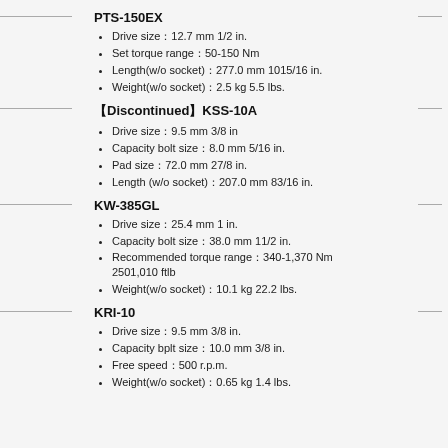PTS-150EX
Drive size：12.7 mm 1/2 in.
Set torque range：50-150 Nm
Length(w/o socket)：277.0 mm 1015/16 in.
Weight(w/o socket)：2.5 kg 5.5 lbs.
【Discontinued】KSS-10A
Drive size：9.5 mm 3/8 in
Capacity bolt size：8.0 mm 5/16 in.
Pad size：72.0 mm 27/8 in.
Length (w/o socket)：207.0 mm 83/16 in.
KW-385GL
Drive size：25.4 mm 1 in.
Capacity bolt size：38.0 mm 11/2 in.
Recommended torque range：340-1,370 Nm 2501,010 ftlb
Weight(w/o socket)：10.1 kg 22.2 lbs.
KRI-10
Drive size：9.5 mm 3/8 in.
Capacity bplt size：10.0 mm 3/8 in.
Free speed：500 r.p.m.
Weight(w/o socket)：0.65 kg 1.4 lbs.